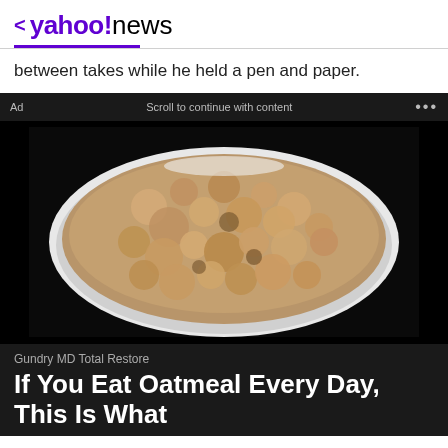< yahoo!news
between takes while he held a pen and paper.
Ad   Scroll to continue with content   ...
[Figure (photo): A white bowl filled with cooked oatmeal, photographed against a dark background]
Gundry MD Total Restore
If You Eat Oatmeal Every Day, This Is What